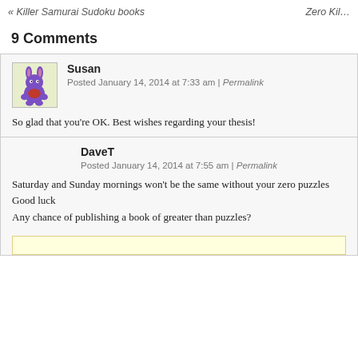« Killer Samurai Sudoku books    Zero Kil…
9 Comments
Susan
Posted January 14, 2014 at 7:33 am | Permalink
So glad that you're OK. Best wishes regarding your thesis!
DaveT
Posted January 14, 2014 at 7:55 am | Permalink
Saturday and Sunday mornings won't be the same without your zero puzzles
Good luck
Any chance of publishing a book of greater than puzzles?